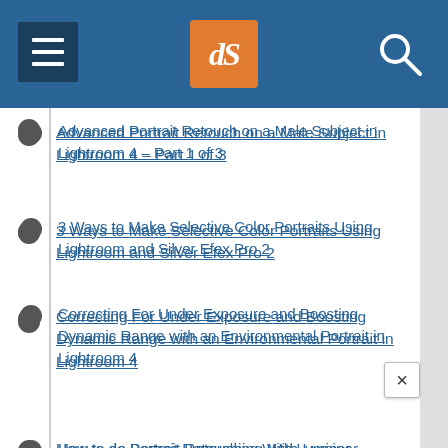dPS navigation header with logo and search
Advanced Portrait Retouch on a Male Subject in Lightroom 4 – Part 1 of 3
3 Ways to Make Selective Color Portraits Using Lightroom and Silver Efex Pro 2
Correcting For Under Exposure and Boosting Dynamic Range with an Environmental Portrait in Lightroom 4
How to do Portrait Retouching With Luminar
Tips for Portrait Processing with ON1 Photo RAW 2018.5
5 Tips to Cut Your Portrait Editing Time in Hal